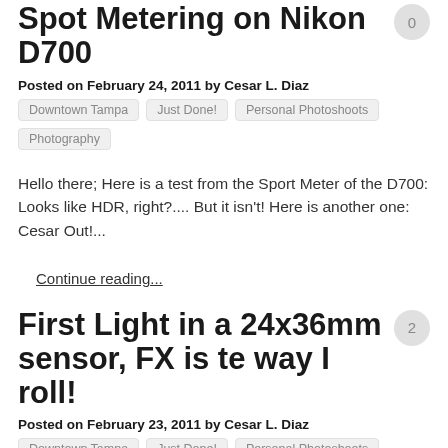Spot Metering on Nikon D700
Posted on February 24, 2011 by Cesar L. Diaz
Downtown Tampa
Just Done!
Personal Photoshoots
Photography
Hello there; Here is a test from the Sport Meter of the D700: Looks like HDR, right?.... But it isn't! Here is another one: Cesar Out!...
Continue reading...
First Light in a 24x36mm sensor, FX is te way I roll!
Posted on February 23, 2011 by Cesar L. Diaz
Downtown Tampa
Just Done!
Personal Photoshoots